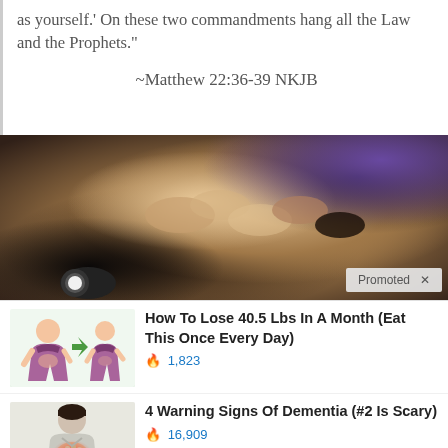as yourself.' On these two commandments hang all the Law and the Prophets."
~Matthew 22:36-39 NKJB
[Figure (photo): Multiple hands of diverse skin tones stacked together, unity gesture, one person wearing a black watch on their wrist. Promoted label visible in bottom right corner.]
[Figure (illustration): Cartoon illustration showing two female body silhouettes in bikinis, before and after weight loss comparison.]
How To Lose 40.5 Lbs In A Month (Eat This Once Every Day)
🔥 1,823
[Figure (photo): Woman pressing hand to chest with redness/pain highlighted on chest area, suggesting heart or dementia warning signs.]
4 Warning Signs Of Dementia (#2 Is Scary)
🔥 16,909